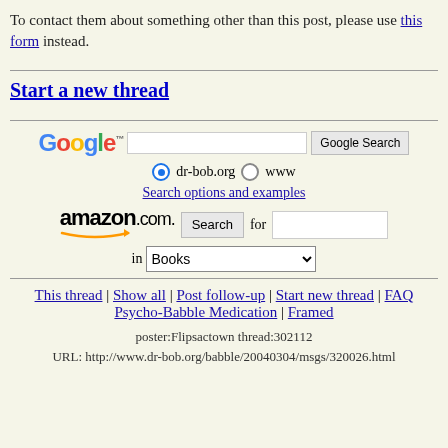To contact them about something other than this post, please use this form instead.
Start a new thread
[Figure (screenshot): Google search bar with text input and Google Search button, radio buttons for dr-bob.org and www, Search options and examples link, Amazon.com search with Books dropdown]
This thread | Show all | Post follow-up | Start new thread | FAQ Psycho-Babble Medication | Framed
poster:Flipsactown thread:302112
URL: http://www.dr-bob.org/babble/20040304/msgs/320026.html